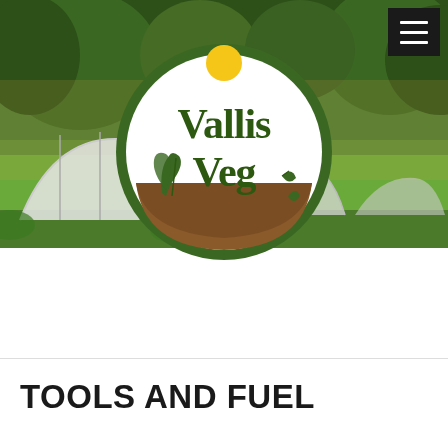[Figure (photo): Aerial/ground-level photo of a vegetable farm with polytunnel greenhouses in the background, surrounded by trees and greenery. Warm golden light suggests early morning or evening.]
[Figure (logo): Vallis Veg circular logo. White circle with dark green border. Yellow sun at top. Large dark green text 'Vallis Veg' in the center with decorative plant/vine illustrations. Brown earth segment at bottom.]
TOOLS AND FUEL